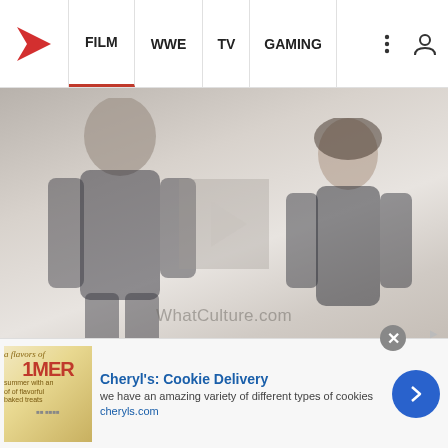FILM  WWE  TV  GAMING
[Figure (photo): Two people photographed on set or outdoors, a bald man in dark clothing on the left and a woman on the right, with a WhatCulture.com watermark overlaid in the center]
10 Times Star Wars Gave Fans What Wanted (and They Hated It)
[Figure (infographic): Advertisement banner for Cheryl's Cookie Delivery showing cookie image, headline 'Cheryl's: Cookie Delivery', description 'we have an amazing variety of different types of cookies', URL 'cheryls.com', and a blue arrow button]